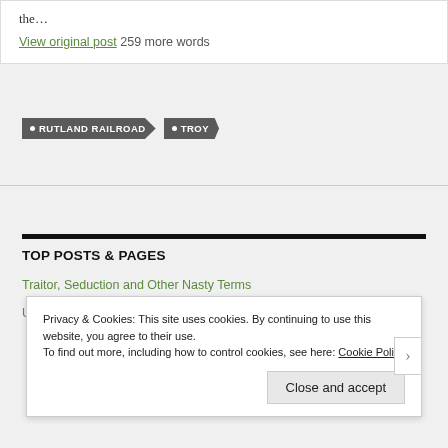the…
View original post 259 more words
• RUTLAND RAILROAD
• TROY
TOP POSTS & PAGES
Traitor, Seduction and Other Nasty Terms
Privacy & Cookies: This site uses cookies. By continuing to use this website, you agree to their use. To find out more, including how to control cookies, see here: Cookie Policy
Close and accept